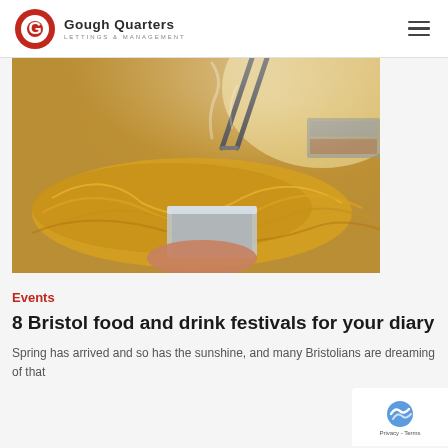Gough Quarters — LETTINGS & MANAGEMENT
[Figure (photo): Close-up of a person using tongs to pick up noodles at a food stall, with steam rising and various food containers visible]
Events
8 Bristol food and drink festivals for your diary
Spring has arrived and so has the sunshine, and many Bristolians are dreaming of that